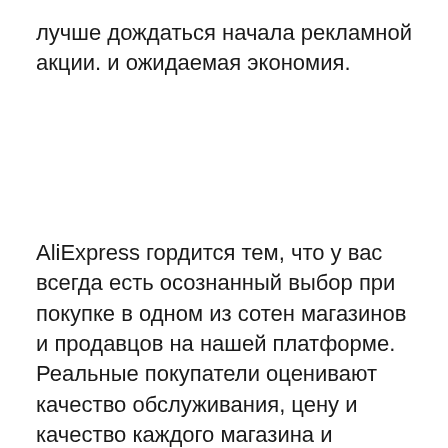лучше дождаться начала рекламной акции. и ожидаемая экономия.
AliExpress гордится тем, что у вас всегда есть осознанный выбор при покупке в одном из сотен магазинов и продавцов на нашей платформе. Реальные покупатели оценивают качество обслуживания, цену и качество каждого магазина и продавца.Кроме того, вы можете узнать рейтинги магазина или отдельных продавцов, а также сравнить цены,